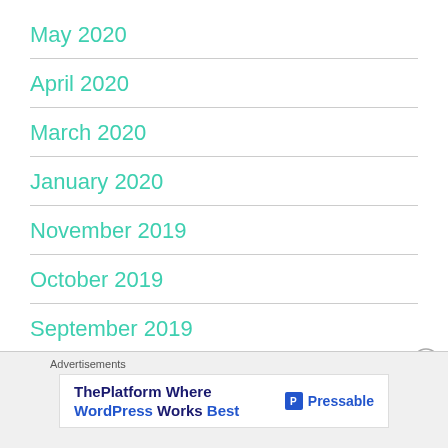May 2020
April 2020
March 2020
January 2020
November 2019
October 2019
September 2019
Advertisements
[Figure (other): Pressable advertisement banner: ThePlatform Where WordPress Works Best]